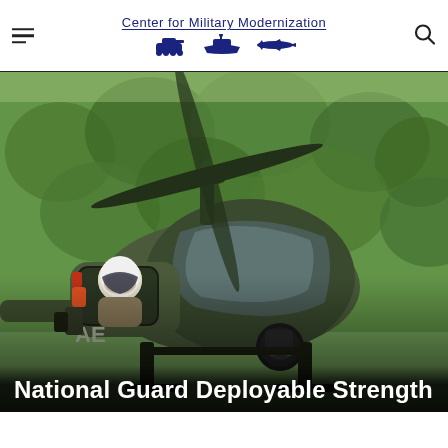Center for Military Modernization
[Figure (photo): Close-up photo of a military helicopter (appears to be an MD 530 or similar light scout helicopter) with a pilot in full flight gear including white helmet and visor, flying low over a dense green forest. The helicopter is painted olive drab/army green. Visible on the fuselage is the partial text 'AE'. A sensor/camera ball is mounted under the nose.]
National Guard Deployable Strength